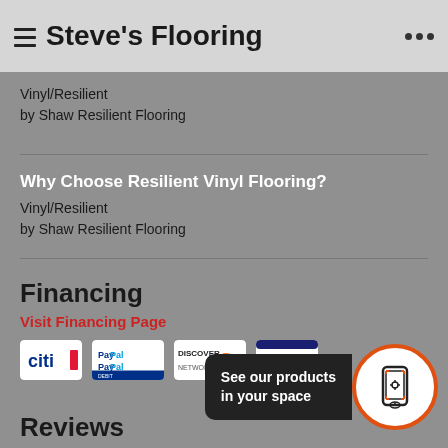Steve's Flooring
Vinyl/Resilient
by Shaw Resilient Flooring
Why Choose Resilient Vinyl Flooring?
Vinyl/Resilient
by Shaw Resilient Flooring
Financing
Visit Financing Page
[Figure (logo): Payment method logos: Citi, PayPal, Discover, Visa]
Reviews
See Reviews
[Figure (infographic): AR button: See our products in your space, with phone AR icon in orange circle]